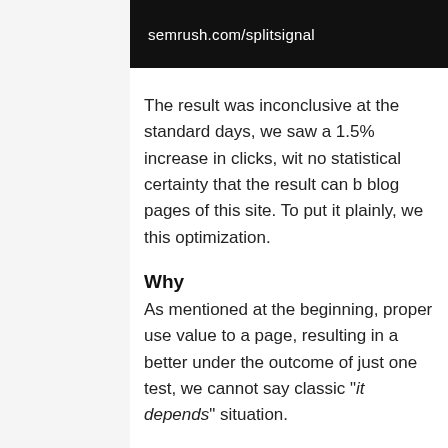semrush.com/splitsignal
The result was inconclusive at the standard days, we saw a 1.5% increase in clicks, with no statistical certainty that the result can b blog pages of this site. To put it plainly, we this optimization.
Why
As mentioned at the beginning, proper use value to a page, resulting in a better under the outcome of just one test, we cannot say classic "it depends" situation.
Google says that while bold text can give a page is about, so it doesn't change much f